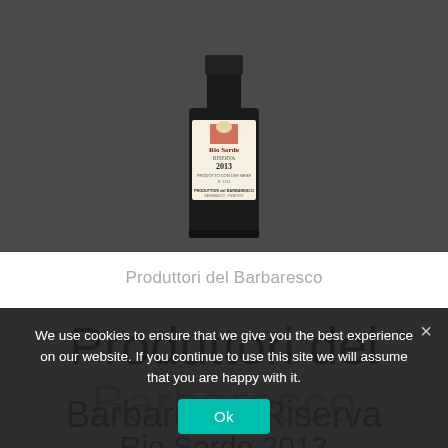[Figure (photo): Photograph of a wine bottle with a label reading 'Rio Sordo Riserva 2013, Produttori del Barbaresco' against a dark grey background.]
Produttori del Barbaresco
Produttori del Barbaresco Riserva Rio Sordo 2013
We use cookies to ensure that we give you the best experience on our website. If you continue to use this site we will assume that you are happy with it.